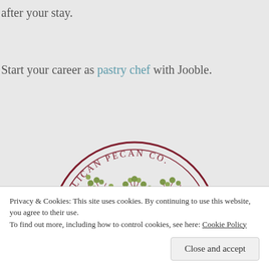after your stay.
Start your career as pastry chef with Jooble.
[Figure (logo): Millican Pecan Co. circular logo with a pecan tree illustration in the center, dark red border with text 'MILLICAN PECAN CO' around the top arc]
Privacy & Cookies: This site uses cookies. By continuing to use this website, you agree to their use.
To find out more, including how to control cookies, see here: Cookie Policy
Close and accept